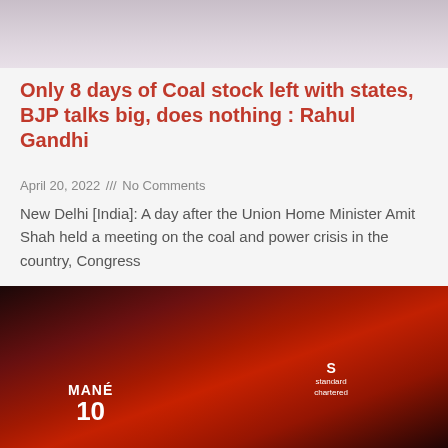[Figure (photo): Top portion of a photo showing a person in light-colored clothing, partially cropped]
Only 8 days of Coal stock left with states, BJP talks big, does nothing : Rahul Gandhi
April 20, 2022 /// No Comments
New Delhi [India]: A day after the Union Home Minister Amit Shah held a meeting on the coal and power crisis in the country, Congress
Read More »
[Figure (photo): Two Liverpool FC football players in red jerseys celebrating. One player wearing jersey number 10 with name MANÉ, and another taller player with Standard Chartered sponsor on chest. Crowd visible in background.]